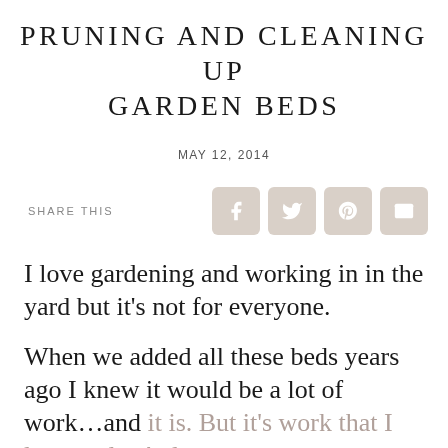PRUNING AND CLEANING UP GARDEN BEDS
MAY 12, 2014
SHARE THIS
I love gardening and working in in the yard but it’s not for everyone.
When we added all these beds years ago I knew it would be a lot of work…and it is. But it’s work that I love to do. At least